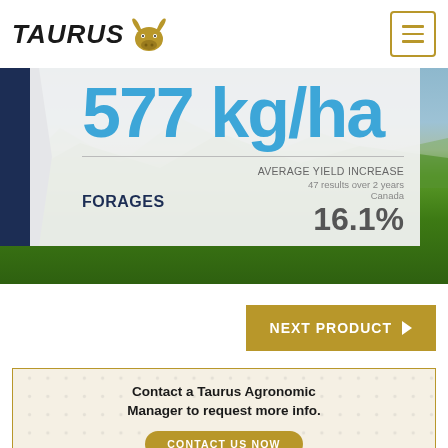TAURUS
[Figure (infographic): Taurus agricultural infographic showing 577 kg/ha average yield increase for Forages, 16.1% based on 47 results over 2 years in Canada, with a landscape background showing sky, mountains and grass field with a dark navy arrow/chevron on the left side.]
NEXT PRODUCT ▶
Contact a Taurus Agronomic Manager to request more info.
CONTACT US NOW